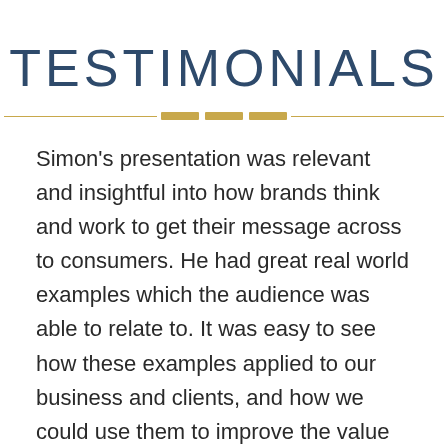TESTIMONIALS
Simon’s presentation was relevant and insightful into how brands think and work to get their message across to consumers. He had great real world examples which the audience was able to relate to. It was easy to see how these examples applied to our business and clients, and how we could use them to improve the value we offer. Attendees found it to be informative, clear, concise, and engaging, with many considering his presentation to be one of the highlights of the off site